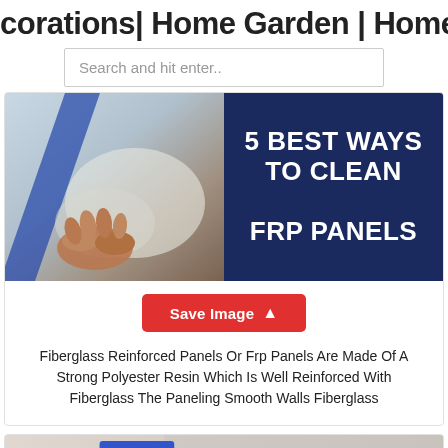corations| Home Garden | Home Far
Search and hit enter..
[Figure (photo): Hero image split: left side shows a hand cleaning/wiping a surface with blue streaks, right side is dark navy blue with bold white text reading '5 BEST WAYS TO CLEAN FRP PANELS']
Save Image
Fiberglass Reinforced Panels Or Frp Panels Are Made Of A Strong Polyester Resin Which Is Well Reinforced With Fiberglass The Paneling Smooth Walls Fiberglass
[Figure (photo): Bottom card showing a textured gray surface with colorful (blue, yellow, red) cleaning sponges/pads on the left]